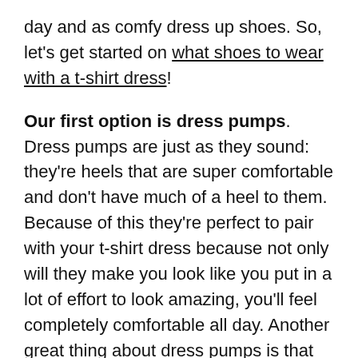day and as comfy dress up shoes. So, let's get started on what shoes to wear with a t-shirt dress!
Our first option is dress pumps. Dress pumps are just as they sound: they're heels that are super comfortable and don't have much of a heel to them. Because of this they're perfect to pair with your t-shirt dress because not only will they make you look like you put in a lot of effort to look amazing, you'll feel completely comfortable all day. Another great thing about dress pumps is that you can find some, like the ones in the example below, that fit into a certain era so if you're looking for something that's a little more vintage these are the best option for you!